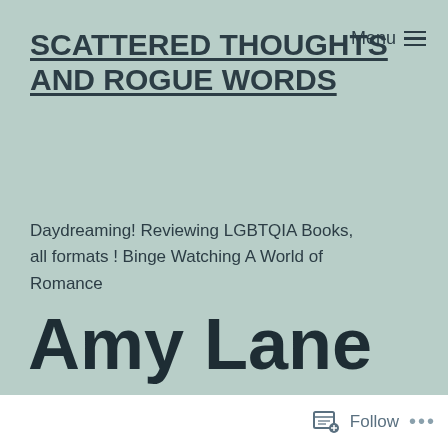SCATTERED THOUGHTS AND ROGUE WORDS
Daydreaming! Reviewing LGBTQIA Books, all formats ! Binge Watching A World of Romance
Amy Lane on Writi…
Follow •••